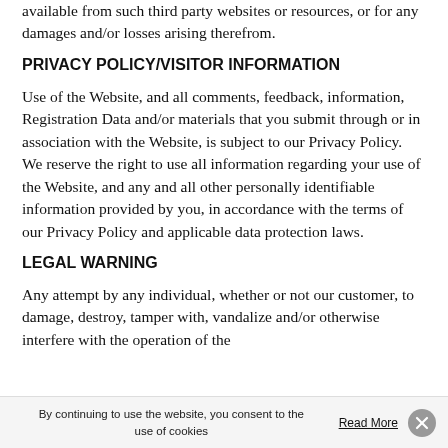available from such third party websites or resources, or for any damages and/or losses arising therefrom.
PRIVACY POLICY/VISITOR INFORMATION
Use of the Website, and all comments, feedback, information, Registration Data and/or materials that you submit through or in association with the Website, is subject to our Privacy Policy. We reserve the right to use all information regarding your use of the Website, and any and all other personally identifiable information provided by you, in accordance with the terms of our Privacy Policy and applicable data protection laws.
LEGAL WARNING
Any attempt by any individual, whether or not our customer, to damage, destroy, tamper with, vandalize and/or otherwise interfere with the operation of the
By continuing to use the website, you consent to the use of cookies   Read More